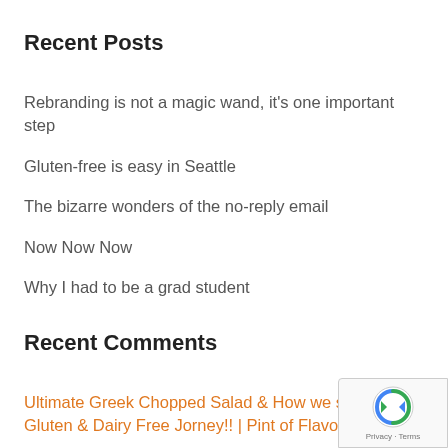Recent Posts
Rebranding is not a magic wand, it’s one important step
Gluten-free is easy in Seattle
The bizarre wonders of the no-reply email
Now Now Now
Why I had to be a grad student
Recent Comments
Ultimate Greek Chopped Salad & How we started our Gluten & Dairy Free Jorney!! | Pint of Flavors - A bit of